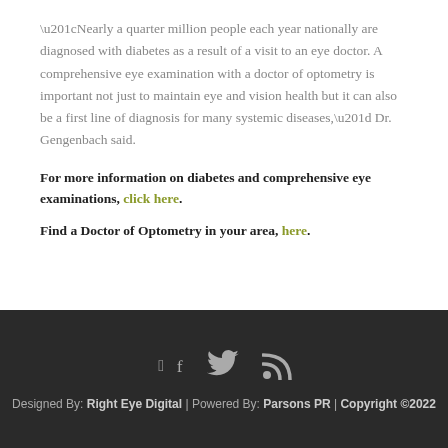“Nearly a quarter million people each year nationally are diagnosed with diabetes as a result of a visit to an eye doctor. A comprehensive eye examination with a doctor of optometry is important not just to maintain eye and vision health but it can also be a first line of diagnosis for many systemic diseases,” Dr. Gengenbach said.
For more information on diabetes and comprehensive eye examinations, click here.
Find a Doctor of Optometry in your area, here.
[Figure (other): Social media icons: Facebook, Twitter, RSS feed]
Designed By: Right Eye Digital | Powered By: Parsons PR | Copyright ©2022